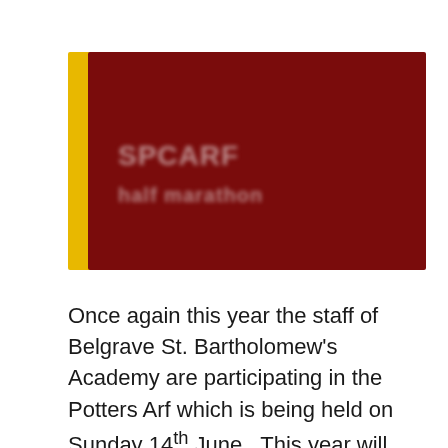[Figure (other): Dark red banner image with a yellow left stripe and blurred white text lines on the red background, resembling a school or academy logo/header.]
Once again this year the staff of Belgrave St. Bartholomew's Academy are participating in the Potters Arf which is being held on Sunday 14th June.  This year will also see a further challenge with some staff competing in the Potteries Marathon four weeks later on Sunday 5th July!